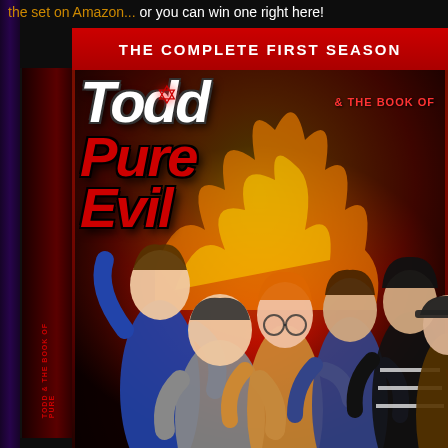the set on Amazon... or you can win one right here!
[Figure (photo): DVD box set of 'Todd and the Book of Pure Evil - The Complete First Season'. The DVD case shows the title in horror-style lettering on a red banner and fiery background, with cast members posed dramatically. A pentagram star appears in the title. The spine of the case shows repeated title text.]